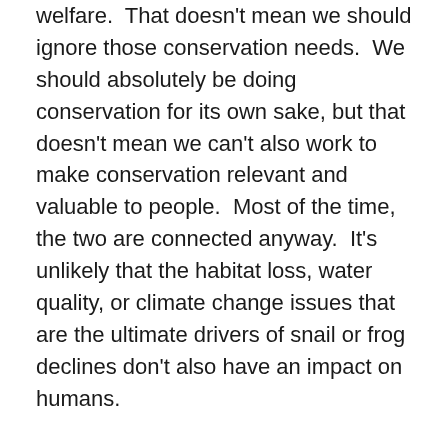welfare.  That doesn't mean we should ignore those conservation needs.  We should absolutely be doing conservation for its own sake, but that doesn't mean we can't also work to make conservation relevant and valuable to people.  Most of the time, the two are connected anyway.  It's unlikely that the habitat loss, water quality, or climate change issues that are the ultimate drivers of snail or frog declines don't also have an impact on humans.
Conservation affects everyone's quality of life, but we need to make sure everyone understands that – especially in cities, where most of the population lives.  As we make the argument, it would sure help if the demographic profile of conservationists was representative of that of the planet we're working with.  When it isn't, it is much more difficult to make sure that conservation messages and strategies